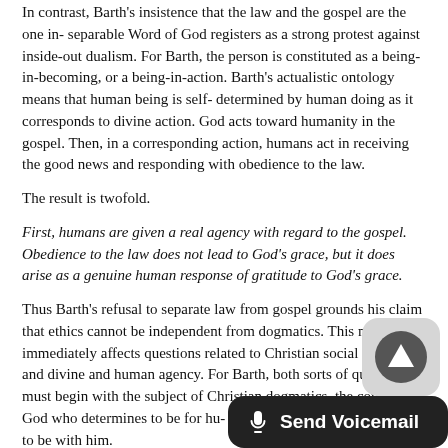In contrast, Barth's insistence that the law and the gospel are the one in- separable Word of God registers as a strong protest against inside-out dualism. For Barth, the person is constituted as a being-in-becoming, or a being-in-action. Barth's actualistic ontology means that human being is self- determined by human doing as it corresponds to divine action. God acts toward humanity in the gospel. Then, in a corresponding action, humans act in receiving the good news and responding with obedience to the law.
The result is twofold.
First, humans are given a real agency with regard to the gospel. Obedience to the law does not lead to God's grace, but it does arise as a genuine human response of gratitude to God's grace.
Thus Barth's refusal to separate law from gospel grounds his claim that ethics cannot be independent from dogmatics. This move immediately affects questions related to Christian social witness and divine and human agency. For Barth, both sorts of questions must begin with the subject of Christian dogmatics, the covenantal God who determines to be for hu- manity and who elects humanity to be with him.
This brings us to the two remaining components of Barth's theological thesis: the priority of the gospel to the law, and... Barth's concern to differentiate the word from the law in...